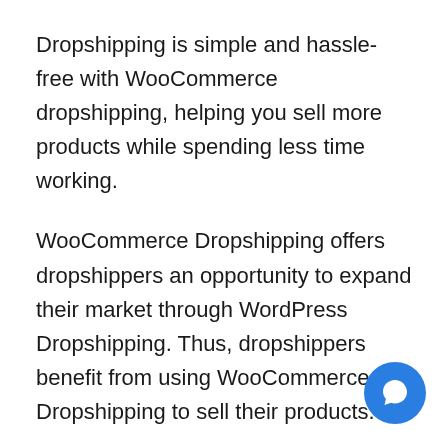Dropshipping is simple and hassle-free with WooCommerce dropshipping, helping you sell more products while spending less time working.
WooCommerce Dropshipping offers dropshippers an opportunity to expand their market through WordPress Dropshipping. Thus, dropshippers benefit from using WooCommerce Dropshipping to sell their products.
This plugin gives you everything you need to start a successful dropshipping business, whether you're selling to local suppliers, AliExpress, or Amazon. WooCommerce Dropshipping is the plugin for those who want to